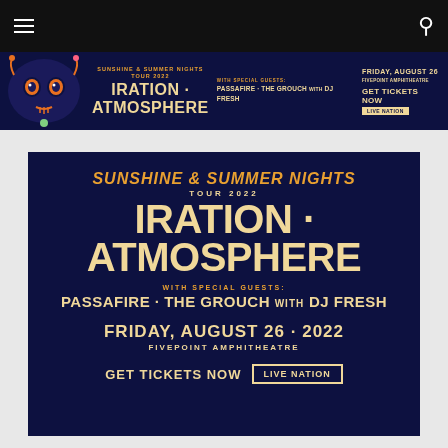Navigation bar with hamburger menu and search icon
[Figure (infographic): Banner advertisement for Iration · Atmosphere Sunshine & Summer Nights Tour 2022, Friday August 26, Fivepoint Amphitheatre, with special guests Passafire · The Grouch with DJ Fresh, Get Tickets Now, Live Nation]
[Figure (infographic): Concert poster: Sunshine & Summer Nights Tour 2022, Iration · Atmosphere, with special guests: Passafire · The Grouch with DJ Fresh, Friday, August 26 · 2022, Fivepoint Amphitheatre, Get Tickets Now, Live Nation]